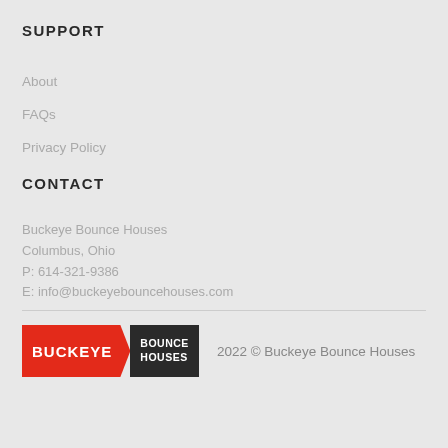SUPPORT
About
FAQs
Privacy Policy
CONTACT
Buckeye Bounce Houses
Columbus, Ohio
P: 614-321-9386
E: info@buckeyebouncehouses.com
[Figure (logo): Buckeye Bounce Houses logo with red arrow-shaped badge for BUCKEYE and black rectangle for BOUNCE HOUSES text]
2022 © Buckeye Bounce Houses